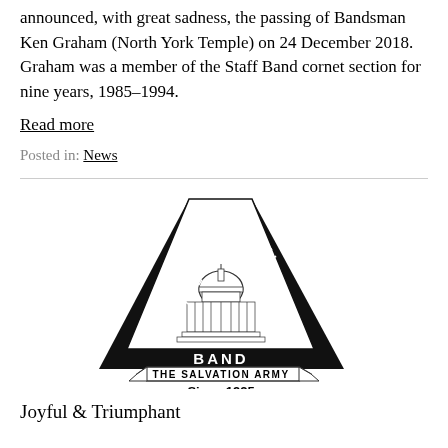announced, with great sadness, the passing of Bandsman Ken Graham (North York Temple) on 24 December 2018. Graham was a member of the Staff Band cornet section for nine years, 1985–1994.
Read more
Posted in: News
[Figure (logo): National Capital Band – The Salvation Army, Since 1925 logo. A black triangular emblem with 'NATIONAL' on the left side, 'CAPITAL' on the right side, a US Capitol building illustration in the center, 'BAND' across the bottom bar, a banner below reading 'THE SALVATION ARMY', and text 'Since 1925' beneath.]
Joyful & Triumphant